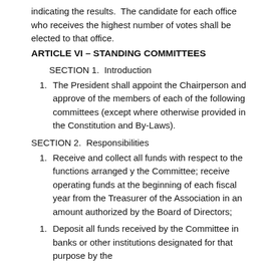indicating the results.  The candidate for each office who receives the highest number of votes shall be elected to that office.
ARTICLE VI – STANDING COMMITTEES
SECTION 1.  Introduction
1. The President shall appoint the Chairperson and approve of the members of each of the following committees (except where otherwise provided in the Constitution and By-Laws).
SECTION 2.  Responsibilities
1. Receive and collect all funds with respect to the functions arranged y the Committee; receive operating funds at the beginning of each fiscal year from the Treasurer of the Association in an amount authorized by the Board of Directors;
1. Deposit all funds received by the Committee in banks or other institutions designated for that purpose by the